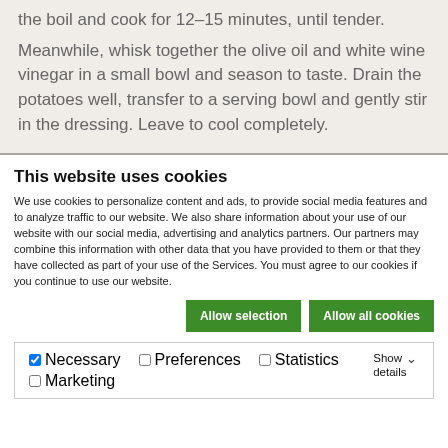the boil and cook for 12–15 minutes, until tender.
Meanwhile, whisk together the olive oil and white wine vinegar in a small bowl and season to taste. Drain the potatoes well, transfer to a serving bowl and gently stir in the dressing. Leave to cool completely.
This website uses cookies
We use cookies to personalize content and ads, to provide social media features and to analyze traffic to our website. We also share information about your use of our website with our social media, advertising and analytics partners. Our partners may combine this information with other data that you have provided to them or that they have collected as part of your use of the Services. You must agree to our cookies if you continue to use our website.